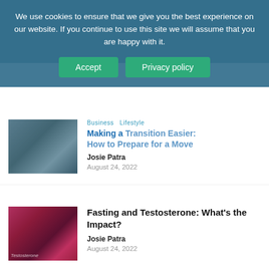We use cookies to ensure that we give you the best experience on our website. If you continue to use this site we will assume that you are happy with it.
Accept
Privacy policy
Business Lifestyle
Making a Transition Easier: How to Prepare for a Move
Josie Patra
August 24, 2022
Fasting and Testosterone: What's the Impact?
Josie Patra
August 24, 2022
5 Tips for Maintaining Your Car's Spark Plugs
Josie Patra
August 23, 2022